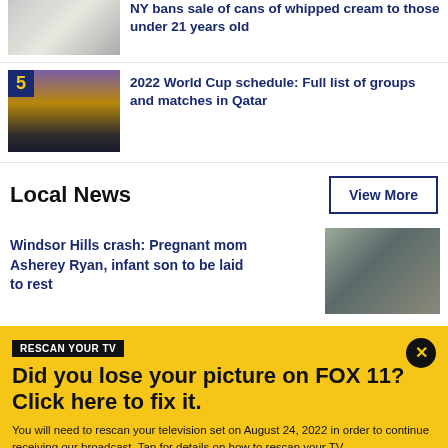[Figure (photo): Whipped cream in a bowl thumbnail with number badge area]
NY bans sale of cans of whipped cream to those under 21 years old
[Figure (photo): Stadium with lights thumbnail with number badge 5]
2022 World Cup schedule: Full list of groups and matches in Qatar
Local News
View More
Windsor Hills crash: Pregnant mom Asherey Ryan, infant son to be laid to rest
[Figure (photo): Local news thumbnail showing two people]
RESCAN YOUR TV
Did you lose your picture on FOX 11? Click here to fix it.
You will need to rescan your television set on August 24, 2022 in order to continue receiving our broadcast. Tap for details on how to rescan your TV.